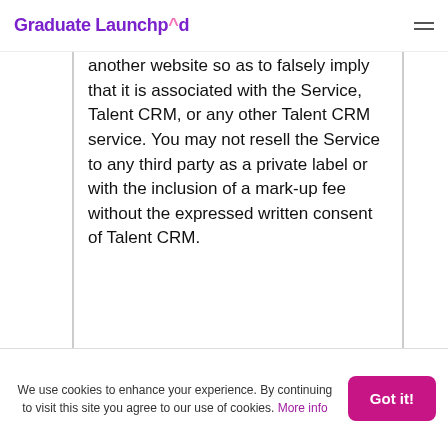Graduate Launchpad
another website so as to falsely imply that it is associated with the Service, Talent CRM, or any other Talent CRM service. You may not resell the Service to any third party as a private label or with the inclusion of a mark-up fee without the expressed written consent of Talent CRM.
3. Subscriber Content
We use cookies to enhance your experience. By continuing to visit this site you agree to our use of cookies. More info